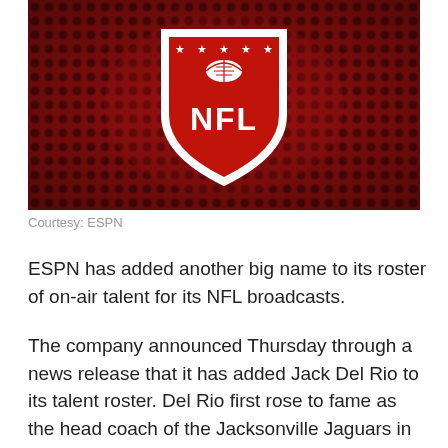[Figure (photo): NFL shield logo on a red metallic mesh background with circular perforations. The white NFL shield with stars and football is prominently displayed in the center.]
Courtesy: ESPN
ESPN has added another big name to its roster of on-air talent for its NFL broadcasts.
The company announced Thursday through a news release that it has added Jack Del Rio to its talent roster. Del Rio first rose to fame as the head coach of the Jacksonville Jaguars in the team's early years.  Most recently, he was the coach of the Oakland Raiders